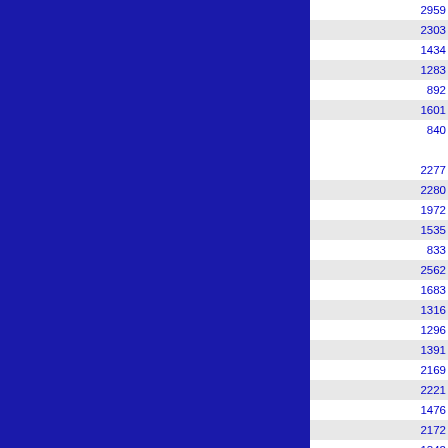| Name | Date | Value | Number |
| --- | --- | --- | --- |
| BOWN8 | 2021-02-15 14 | 1.000 | 2959 |
| BRDM8 | 2021-02-16 05 | 1.000 | 2303 |
| BRGS2 | 2021-02-15 14 | 1.000 | 1434 |
| CMBS2 | 2021-02-15 14 | 1.000 | 1283 |
| CVLN8 | 2021-02-15 13 | 1.000 | 892 |
| FAUS2 | 2021-02-15 14 | 1.000 | 1601 |
| GFK | 2021-02-16 00 | 1.000 | 840 |
| GGW | 2021-02-16 00 | 1.000 | 2277 |
| GGWM8 | 2021-02-16 06 | 1.000 | 2280 |
| HZTN8 | 2021-02-15 13 | 1.000 | 1972 |
| IPSS2 | 2021-02-16 02 | 1.000 | 1535 |
| KGFK | 2021-02-16 06 | 1.000 | 833 |
| LEMS2 | 2021-02-16 00 | 1.000 | 2562 |
| MBG | 2021-02-16 00 | 1.000 | 1683 |
| MCLS2 | 2021-02-16 05 | 1.000 | 1316 |
| MHE | 2021-02-15 12 | 1.000 | 1296 |
| MONN8 | 2021-02-15 14 | 1.000 | 1391 |
| MT-VL-2 | 2021-02-15 15 | 1.000 | 2169 |
| MVLS2 | 2021-02-16 01 | 1.000 | 2221 |
| ND-SM-12 | 2021-02-15 13 | 1.000 | 1476 |
| NWSN8 | 2021-02-15 15 | 1.000 | 2172 |
| RKRI4 | 2021-02-15 14 | 1.000 | 1342 |
| SAOM8 | 2021-02-15 13 | 1.000 | 2178 |
| SBYS2 | 2021-02-15 13 | 1.000 | 1841 |
| SD-BR-11 | 2021-02-15 13 | 1.000 | 1306 |
| SD-BR-38 | 2021-02-15 13 | 1.000 | 1299 |
| SD-ED-14 | 2021-02-15 12 | 1.000 | 1414 |
| SDVM8 | 2021-02-15 00 | 1.000 | 1048 |